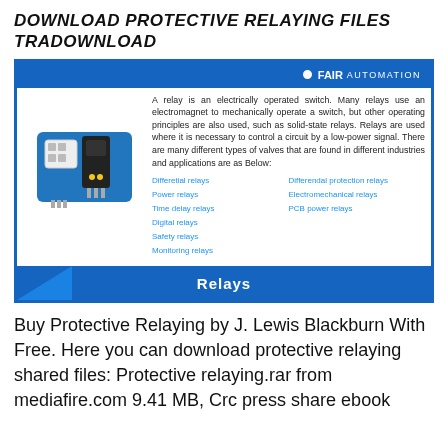DOWNLOAD PROTECTIVE RELAYING FILES TRADOWNLOAD
[Figure (infographic): Fair Automation infographic about Relays. Shows a relay circuit board image on the left, descriptive text about relays on the right, two columns of relay types listed, and a blue bottom bar with 'Relays' label.]
Buy Protective Relaying by J. Lewis Blackburn With Free. Here you can download protective relaying shared files: Protective relaying.rar from mediafire.com 9.41 MB, Crc press share ebook protective relaying by blackburn. The Thi...